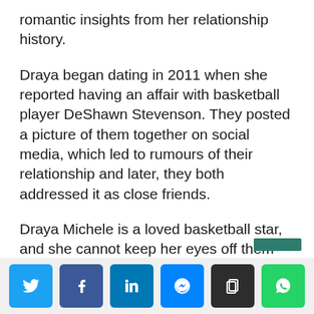romantic insights from her relationship history.
Draya began dating in 2011 when she reported having an affair with basketball player DeShawn Stevenson. They posted a picture of them together on social media, which led to rumours of their relationship and later, they both addressed it as close friends.
Draya Michele is a loved basketball star, and she cannot keep her eyes off them for a long duration. Kenyon Martin – a basketball player, is another name that Draya has in
[Figure (infographic): Social media sharing buttons: Twitter (light blue), Facebook (dark blue), LinkedIn (medium blue), Messenger (blue with circle/arrow icon), Copy (dark/black), WhatsApp (green)]